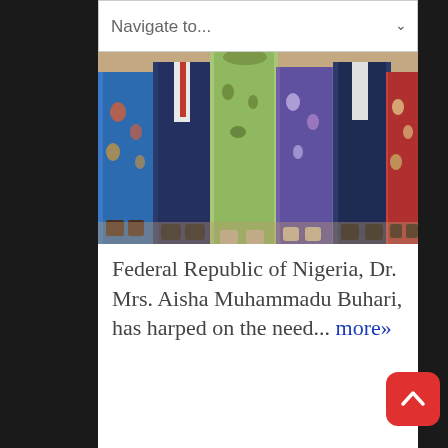Navigate to...
[Figure (photo): Group of people standing together, wearing colorful traditional and formal attire, photographed from approximately waist down]
Federal Republic of Nigeria, Dr. Mrs. Aisha Muhammadu Buhari, has harped on the need... more»